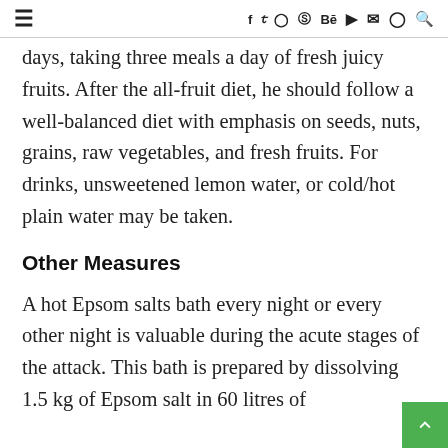≡   f  t  [instagram]  [pinterest]  Bē  [youtube]  [mail]  [snapchat]  [search]
days, taking three meals a day of fresh juicy fruits. After the all-fruit diet, he should follow a well-balanced diet with emphasis on seeds, nuts, grains, raw vegetables, and fresh fruits. For drinks, unsweetened lemon water, or cold/hot plain water may be taken.
Other Measures
A hot Epsom salts bath every night or every other night is valuable during the acute stages of the attack. This bath is prepared by dissolving 1.5 kg of Epsom salt in 60 litres of